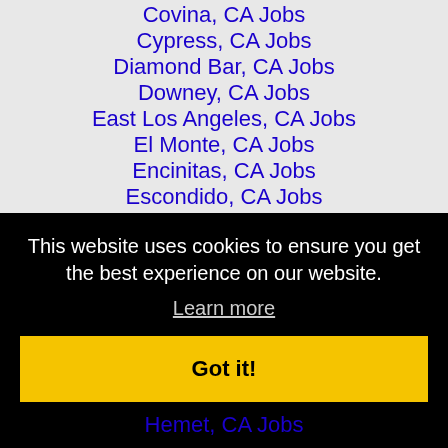Covina, CA Jobs
Cypress, CA Jobs
Diamond Bar, CA Jobs
Downey, CA Jobs
East Los Angeles, CA Jobs
El Monte, CA Jobs
Encinitas, CA Jobs
Escondido, CA Jobs
Florence-Graham, CA Jobs
This website uses cookies to ensure you get the best experience on our website.
Learn more
Got it!
Hemet, CA Jobs